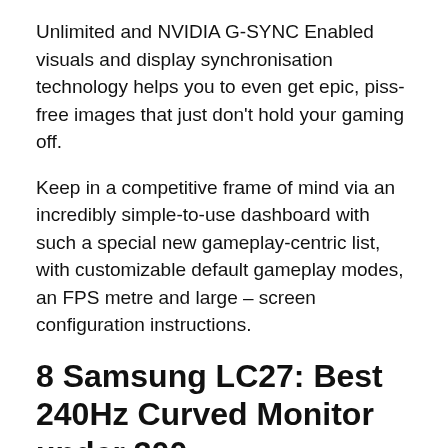Unlimited and NVIDIA G-SYNC Enabled visuals and display synchronisation technology helps you to even get epic, piss-free images that just don't hold your gaming off.
Keep in a competitive frame of mind via an incredibly simple-to-use dashboard with such a special new gameplay-centric list, with customizable default gameplay modes, an FPS metre and large – screen configuration instructions.
8 Samsung LC27: Best 240Hz Curved Monitor under 300
Blazing Pace, Absorption Absolute